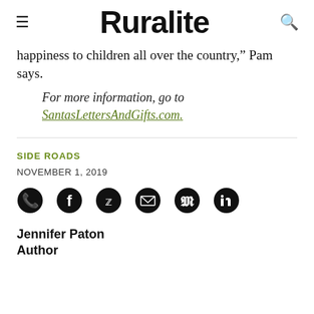Ruralite
happiness to children all over the country,” Pam says.
For more information, go to SantasLettersAndGifts.com.
SIDE ROADS
NOVEMBER 1, 2019
[Figure (infographic): Social sharing icons: phone/WhatsApp, Facebook, Twitter, email, Pinterest, LinkedIn]
Jennifer Paton
Author